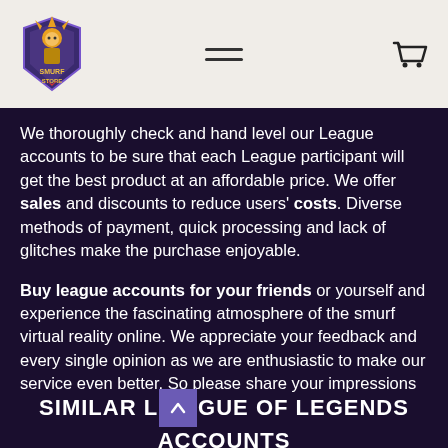Smurf Store - navigation header with logo, hamburger menu, and cart icon
We thoroughly check and hand level our League accounts to be sure that each League participant will get the best product at an affordable price. We offer sales and discounts to reduce users' costs. Diverse methods of payment, quick processing and lack of glitches make the purchase enjoyable.
Buy league accounts for your friends or yourself and experience the fascinating atmosphere of the smurf virtual reality online. We appreciate your feedback and every single opinion as we are enthusiastic to make our service even better. So please share your impressions with us and other gamers.
SIMILAR LEAGUE OF LEGENDS ACCOUNTS